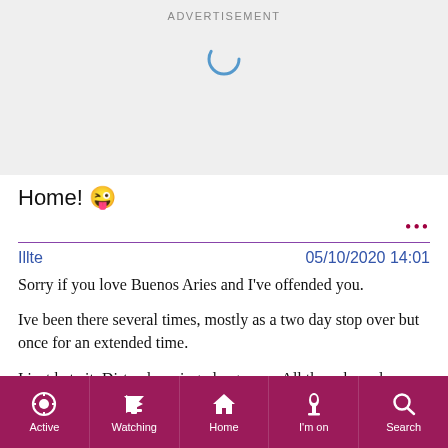[Figure (screenshot): Advertisement banner area with a loading spinner (partial blue arc) on a light gray background, labeled ADVERTISEMENT at the top]
Home! 😜
...
Illte    05/10/2020 14:01
Sorry if you love Buenos Aries and I've offended you.

Ive been there several times, mostly as a two day stop over but once for an extended time.

I just hate it. Dirty, decaying, dangerous. All those homeless people with their little cardboard houses.
Active   Watching   Home   I'm on   Search